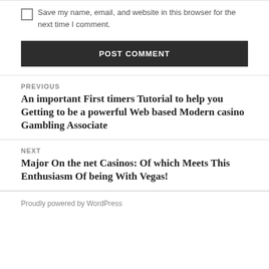Save my name, email, and website in this browser for the next time I comment.
POST COMMENT
PREVIOUS
An important First timers Tutorial to help you Getting to be a powerful Web based Modern casino Gambling Associate
NEXT
Major On the net Casinos: Of which Meets This Enthusiasm Of being With Vegas!
Proudly powered by WordPress